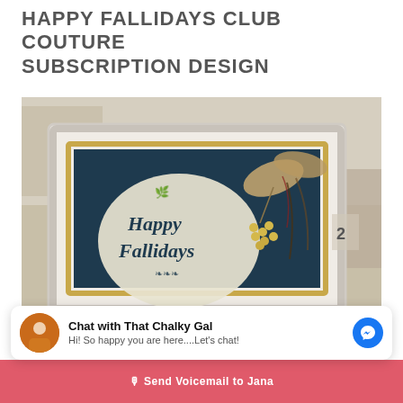HAPPY FALLIDAYS CLUB COUTURE SUBSCRIPTION DESIGN
[Figure (photo): A framed sign reading 'Happy Fallidays' with a cream/teal brush stroke background, decorated with a fall ribbon bow with yellow berries, displayed in a white and gold ornate frame. Photographed in what appears to be a craft store setting.]
Chat with That Chalky Gal
Hi! So happy you are here....Let's chat!
Send Voicemail to Jana